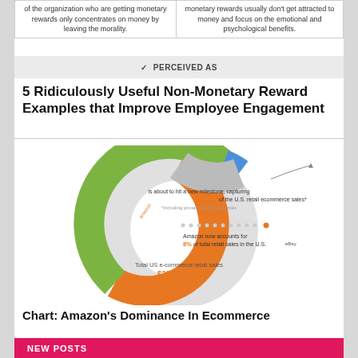|  |  |
| --- | --- |
| of the organization who are getting monetary rewards only concentrates on money by leaving the morality. | monetary rewards usually don't get attracted to money and focus on the emotional and psychological benefits. |
✓ PERCEIVED AS
5 Ridiculously Useful Non-Monetary Reward Examples that Improve Employee Engagement
[Figure (donut-chart): Donut chart showing Amazon's dominance in US e-commerce retail sales. Amazon is about to hit a new milestone capturing 50% of the U.S. retail ecommerce sales. Amazon now accounts for 8% of total retail sales in the U.S. Total US e-commerce retail sales: $252 billion. Other segments shown include eBay and others.]
Chart: Amazon's Dominance In Ecommerce
NEW POSTS